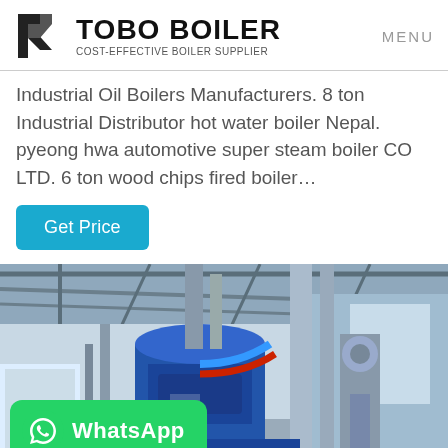TOBO BOILER COST-EFFECTIVE BOILER SUPPLIER | MENU
Industrial Oil Boilers Manufacturers. 8 ton Industrial Distributor hot water boiler Nepal. pyeong hwa automotive super steam boiler CO LTD. 6 ton wood chips fired boiler…
Get Price
[Figure (photo): Industrial boiler room interior showing large blue cylindrical boiler with pipes and valves in a factory setting with steel roof structure. WhatsApp badge overlaid at lower left.]